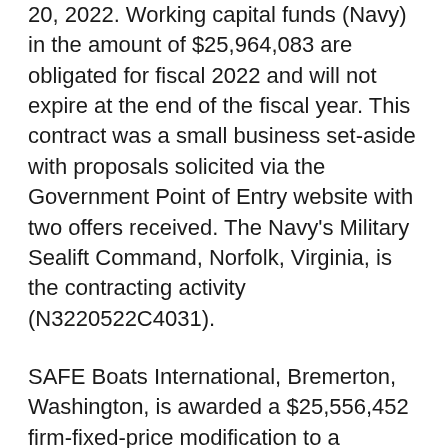20, 2022. Working capital funds (Navy) in the amount of $25,964,083 are obligated for fiscal 2022 and will not expire at the end of the fiscal year. This contract was a small business set-aside with proposals solicited via the Government Point of Entry website with two offers received. The Navy's Military Sealift Command, Norfolk, Virginia, is the contracting activity (N3220522C4031).
SAFE Boats International, Bremerton, Washington, is awarded a $25,556,452 firm-fixed-price modification to a previously awarded contract (N00024-21-C-2201) for the exercise of options for construction, outfitting, reactivation, and training of two Mark VI (MK